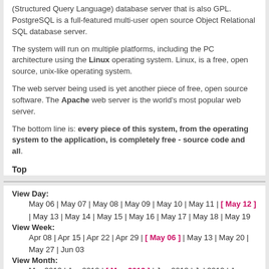(Structured Query Language) database server that is also GPL. PostgreSQL is a full-featured multi-user open source Object Relational SQL database server.
The system will run on multiple platforms, including the PC architecture using the Linux operating system. Linux, is a free, open source, unix-like operating system.
The web server being used is yet another piece of free, open source software. The Apache web server is the world's most popular web server.
The bottom line is: every piece of this system, from the operating system to the application, is completely free - source code and all.
Top
View Day:
    May 06 | May 07 | May 08 | May 09 | May 10 | May 11 | [ May 12 ] | May 13 | May 14 | May 15 | May 16 | May 17 | May 18 | May 19
View Week:
    Apr 08 | Apr 15 | Apr 22 | Apr 29 | [ May 06 ] | May 13 | May 20 | May 27 | Jun 03
View Month:
    Mar 2012 | Apr 2012 | [ May 2012 ] | Jun 2012 | Jul 2012 | Aug 2012 | Sep 2012 | Oct 2012 | Nov 2012